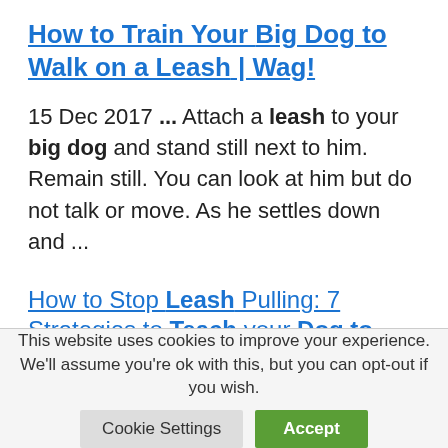How to Train Your Big Dog to Walk on a Leash | Wag!
15 Dec 2017 ... Attach a leash to your big dog and stand still next to him. Remain still. You can look at him but do not talk or move. As he settles down and ...
How to Stop Leash Pulling: 7 Strategies to Teach your Dog to Walk ...
This website uses cookies to improve your experience. We'll assume you're ok with this, but you can opt-out if you wish.